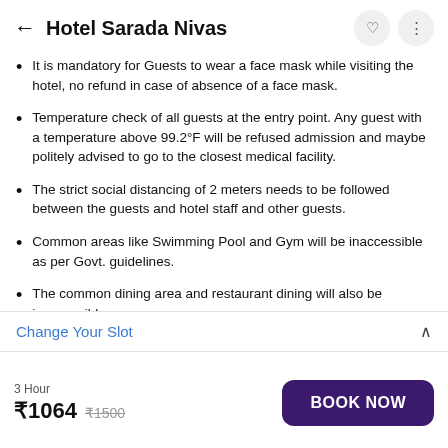Hotel Sarada Nivas
It is mandatory for Guests to wear a face mask while visiting the hotel, no refund in case of absence of a face mask.
Temperature check of all guests at the entry point. Any guest with a temperature above 99.2°F will be refused admission and maybe politely advised to go to the closest medical facility.
The strict social distancing of 2 meters needs to be followed between the guests and hotel staff and other guests.
Common areas like Swimming Pool and Gym will be inaccessible as per Govt. guidelines.
The common dining area and restaurant dining will also be inaccessible.
Change Your Slot
3 Hour  ₹1064  ₹1500  BOOK NOW